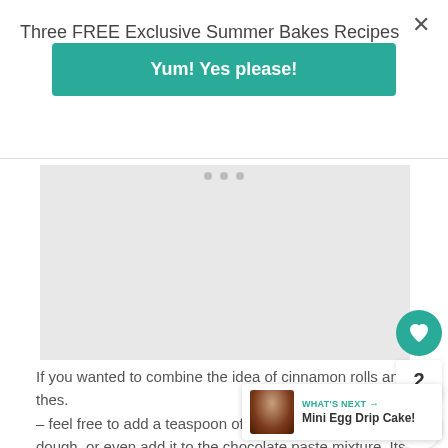Three FREE Exclusive Summer Bakes Recipes
Yum! Yes please!
[Figure (photo): Gray placeholder image area for recipe photo]
If you wanted to combine the idea of cinnamon rolls and thes. – feel free to add a teaspoon of ground cinnamon dough, or even add it to the chocolate paste mixture. Its the best thing ever when you can customise a bake to your tastes!!
WHAT'S NEXT → Mini Egg Drip Cake!